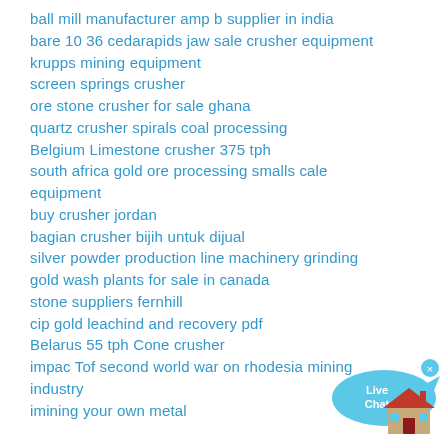ball mill manufacturer amp b supplier in india
bare 10 36 cedarapids jaw sale crusher equipment
krupps mining equipment
screen springs crusher
ore stone crusher for sale ghana
quartz crusher spirals coal processing
Belgium Limestone crusher 375 tph
south africa gold ore processing smalls cale equipment
buy crusher jordan
bagian crusher bijih untuk dijual
silver powder production line machinery grinding
gold wash plants for sale in canada
stone suppliers fernhill
cip gold leachind and recovery pdf
Belarus 55 tph Cone crusher
impac Tof second world war on rhodesia mining industry
imining your own metal
[Figure (other): Live Chat speech bubble widget icon in blue]
[Figure (other): House/home icon in red and brown colors]